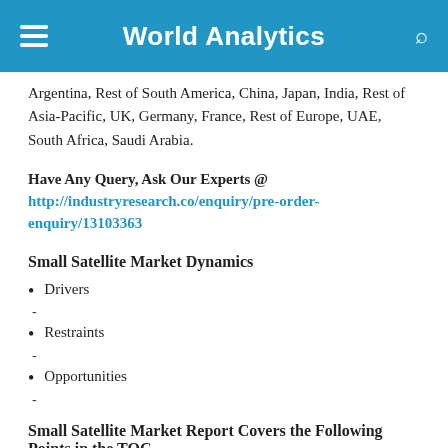World Analytics
Argentina, Rest of South America, China, Japan, India, Rest of Asia-Pacific, UK, Germany, France, Rest of Europe, UAE, South Africa, Saudi Arabia.
Have Any Query, Ask Our Experts @ http://industryresearch.co/enquiry/pre-order-enquiry/13103363
Small Satellite Market Dynamics
Drivers
Restraints
Opportunities
Small Satellite Market Report Covers the Following Points in the TOC